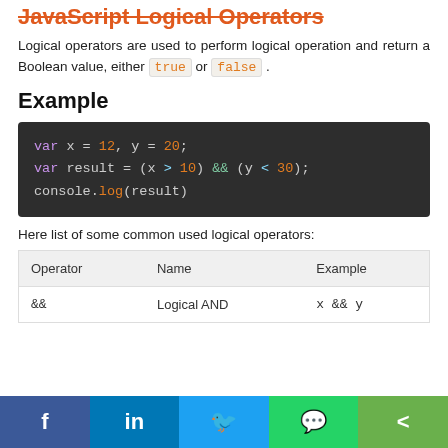JavaScript Logical Operators
Logical operators are used to perform logical operation and return a Boolean value, either true or false .
Example
[Figure (screenshot): Code block showing JavaScript: var x = 12, y = 20; var result = (x > 10) && (y < 30); console.log(result)]
Here list of some common used logical operators:
| Operator | Name | Example |
| --- | --- | --- |
| && | Logical AND | x && y |